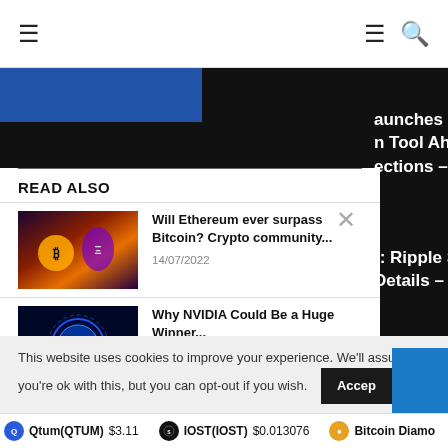Navigation bar with hamburger menu, logo area, hamburger and search icons
aunches Voter
n Tool Ahead of US
ections – CoinDesk
READ ALSO
[Figure (photo): Thumbnail image of Ethereum and Bitcoin themed illustration with golden robot figures on dark purple/orange background]
Will Ethereum ever surpass Bitcoin? Crypto community...
14/07/2022
t: Ripple Scores Minor Win
Details – U.Today
[Figure (photo): Thumbnail image of blue glowing dollar coin/crypto symbol on dark blue background]
Why NVIDIA Could Be a Huge Winner...
16/03/2021
This website uses cookies to improve your experience. We'll assume you're ok with this, but you can opt-out if you wish.
Qtum(QTUM) $3.11   IOST(IOST) $0.013076   Bitcoin Diamo...